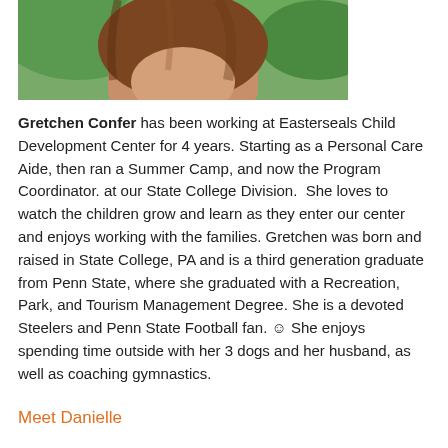[Figure (photo): Partial photo of Gretchen Confer, showing lower face and hair, cropped at top of page]
Gretchen Confer has been working at Easterseals Child Development Center for 4 years. Starting as a Personal Care Aide, then ran a Summer Camp, and now the Program Coordinator. at our State College Division. She loves to watch the children grow and learn as they enter our center and enjoys working with the families. Gretchen was born and raised in State College, PA and is a third generation graduate from Penn State, where she graduated with a Recreation, Park, and Tourism Management Degree. She is a devoted Steelers and Penn State Football fan. ☺ She enjoys spending time outside with her 3 dogs and her husband, as well as coaching gymnastics.
Meet Danielle